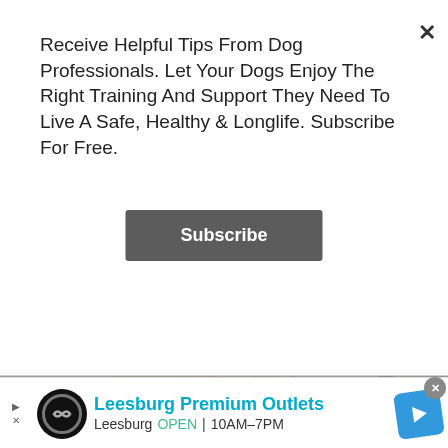Receive Helpful Tips From Dog Professionals. Let Your Dogs Enjoy The Right Training And Support They Need To Live A Safe, Healthy & Longlife. Subscribe For Free.
[Figure (screenshot): Subscribe button (dark grey rounded rectangle with white bold text 'Subscribe')]
[Figure (photo): Cavalier King Charles Spaniel puppy on green grass with black harness]
How Much To Feed An English Toy Spaniel Puppy? [Answered]
[Figure (photo): White fluffy Lhasa Apso puppy with tongue out, in a crate]
How Much To Feed A Lhasa Apso Puppy? [Answered]
No compatible source was found for this media.
[Figure (screenshot): Advertisement banner for Leesburg Premium Outlets showing logo, name, OPEN hours 10AM-7PM, and navigation arrow icon]